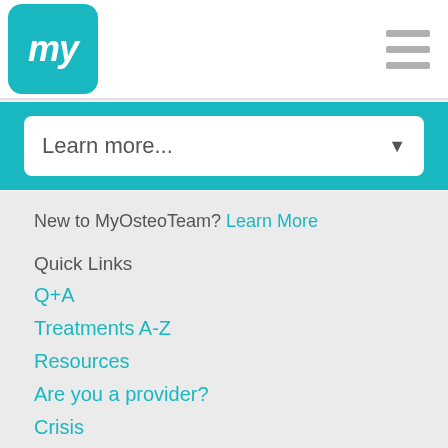[Figure (logo): MyOsteoTeam logo: teal rounded square with 'my' text in white italic]
[Figure (other): Hamburger menu icon with three gray horizontal bars]
Learn more...
New to MyOsteoTeam? Learn More
Quick Links
Q+A
Treatments A-Z
Resources
Are you a provider?
Crisis
About Us
What is MyOsteoTeam?
Partner with us
Terms of service
Press/News